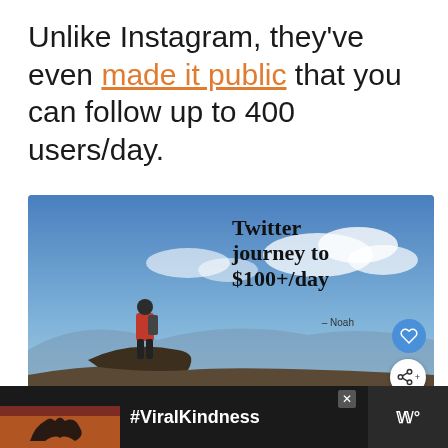Unlike Instagram, they've even made it public that you can follow up to 400 users/day.
[Figure (photo): A hiker in a red jacket standing on a rocky summit against a blue sky with clouds. Overlaid text reads 'Twitter journey to $100+/day - Noah' with heart and share icons.]
[Figure (screenshot): Dark advertisement banner at the bottom showing a heart-hands silhouette and the text '#ViralKindness' with a close (X) button and a logo on the right.]